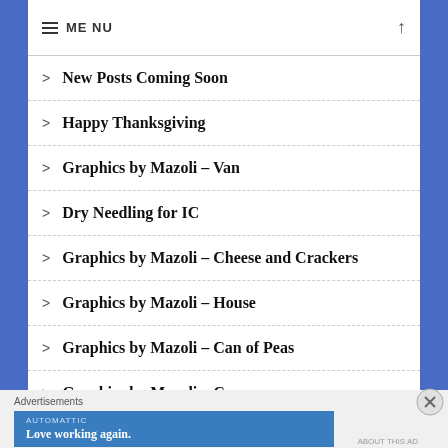MENU
New Posts Coming Soon
Happy Thanksgiving
Graphics by Mazoli – Van
Dry Needling for IC
Graphics by Mazoli – Cheese and Crackers
Graphics by Mazoli – House
Graphics by Mazoli – Can of Peas
Graphics by Mazoli – Camper
Graphics by Mazoli – Cereal Box
Advertisements
[Figure (infographic): Automattic advertisement banner: 'Love working again.']